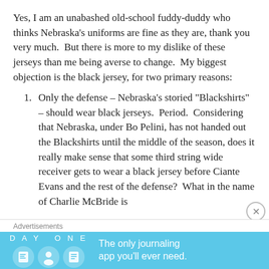Yes, I am an unabashed old-school fuddy-duddy who thinks Nebraska's uniforms are fine as they are, thank you very much.  But there is more to my dislike of these jerseys than me being averse to change.  My biggest objection is the black jersey, for two primary reasons:
1. Only the defense – Nebraska's storied "Blackshirts" – should wear black jerseys.  Period.  Considering that Nebraska, under Bo Pelini, has not handed out the Blackshirts until the middle of the season, does it really make sense that some third string wide receiver gets to wear a black jersey before Ciante Evans and the rest of the defense?  What in the name of Charlie McBride is
Advertisements
[Figure (infographic): DAY ONE journaling app advertisement banner with blue background, app icons, and text 'The only journaling app you'll ever need.']